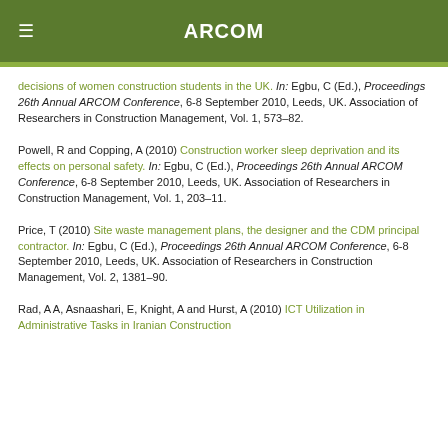ARCOM
decisions of women construction students in the UK. In: Egbu, C (Ed.), Proceedings 26th Annual ARCOM Conference, 6-8 September 2010, Leeds, UK. Association of Researchers in Construction Management, Vol. 1, 573–82.
Powell, R and Copping, A (2010) Construction worker sleep deprivation and its effects on personal safety. In: Egbu, C (Ed.), Proceedings 26th Annual ARCOM Conference, 6-8 September 2010, Leeds, UK. Association of Researchers in Construction Management, Vol. 1, 203–11.
Price, T (2010) Site waste management plans, the designer and the CDM principal contractor. In: Egbu, C (Ed.), Proceedings 26th Annual ARCOM Conference, 6-8 September 2010, Leeds, UK. Association of Researchers in Construction Management, Vol. 2, 1381–90.
Rad, A A, Asnaashari, E, Knight, A and Hurst, A (2010) ICT Utilization in Administrative Tasks in Iranian Construction